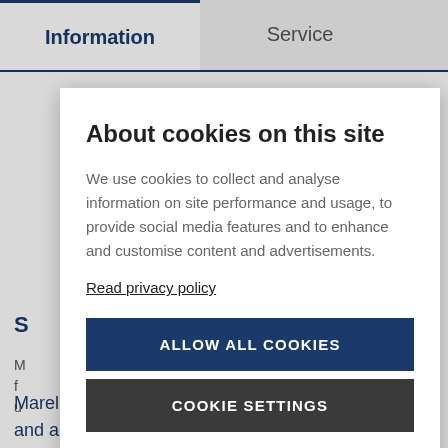Information | Service
About cookies on this site
We use cookies to collect and analyse information on site performance and usage, to provide social media features and to enhance and customise content and advertisements.
Read privacy policy
ALLOW ALL COOKIES
COOKIE SETTINGS
Marel has offices in 30 countries across all regions, and a global network of highly skilled professionals